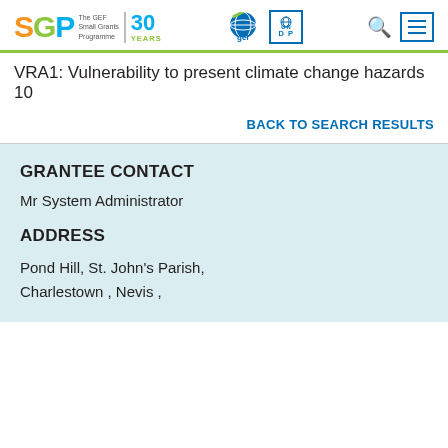SGP The GEF Small Grants Programme 30 YEARS | GEF | UNDP
VRA1: Vulnerability to present climate change hazards 10
BACK TO SEARCH RESULTS
GRANTEE CONTACT
Mr System Administrator
ADDRESS
Pond Hill, St. John's Parish, Charlestown , Nevis ,